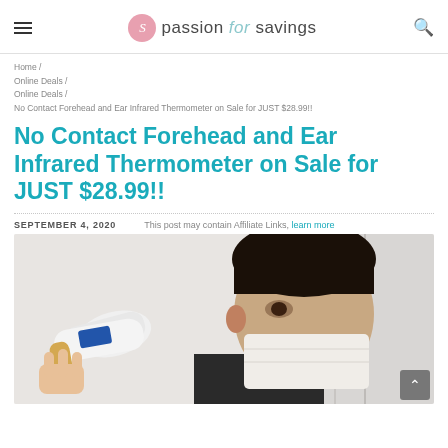passion for savings
Home / Online Deals / Online Deals / No Contact Forehead and Ear Infrared Thermometer on Sale for JUST $28.99!!
No Contact Forehead and Ear Infrared Thermometer on Sale for JUST $28.99!!
SEPTEMBER 4, 2020   This post may contain Affiliate Links, learn more
[Figure (photo): Person wearing a face mask having their forehead temperature taken with a no-contact infrared thermometer]